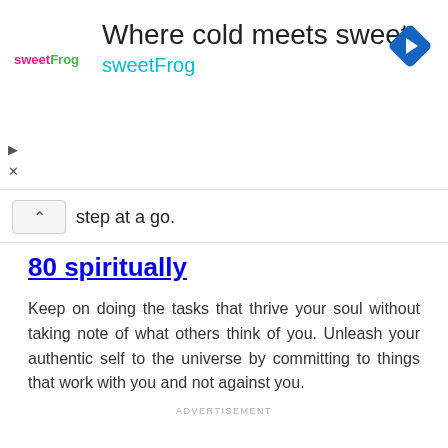[Figure (screenshot): SweetFrog advertisement banner with logo, tagline 'Where cold meets sweet', brand name 'sweetFrog', navigation arrow icon, and ad controls]
step at a go.
80 spiritually
Keep on doing the tasks that thrive your soul without taking note of what others think of you. Unleash your authentic self to the universe by committing to things that work with you and not against you.
ADVERTISEMENT